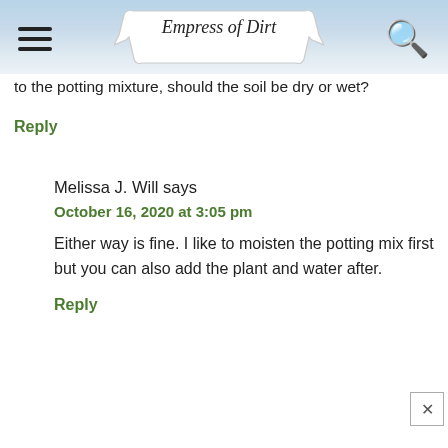Empress of Dirt
to the potting mixture, should the soil be dry or wet?
Reply
Melissa J. Will says
October 16, 2020 at 3:05 pm
Either way is fine. I like to moisten the potting mix first but you can also add the plant and water after.
Reply